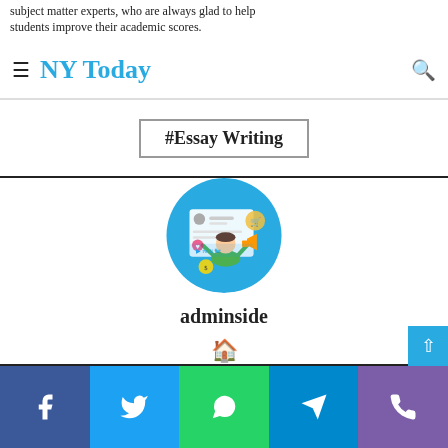subject matter experts, who are always glad to help students improve their academic scores.
NY Today
#Essay Writing
[Figure (illustration): Circular avatar illustration of a person with social media interface elements, used as author profile image for 'adminside']
adminside
Social share bar: Facebook, Twitter, WhatsApp, Telegram, Phone